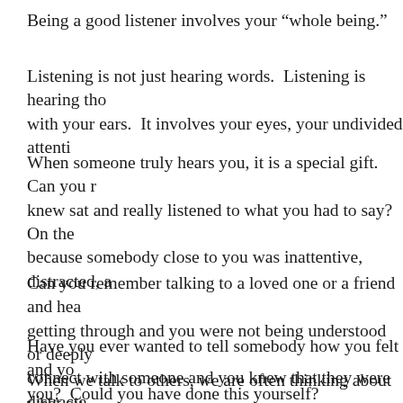Being a good listener involves your “whole being.”
Listening is not just hearing words.  Listening is hearing tho with your ears.  It involves your eyes, your undivided attenti
When someone truly hears you, it is a special gift.  Can you knew sat and really listened to what you had to say?  On the because somebody close to you was inattentive, distracted, a
Can you remember talking to a loved one or a friend and hea getting through and you were not being understood or deeply connect with someone and you knew that they were distracte
Have you ever wanted to tell somebody how you felt and yo you?  Could you have done this yourself?
When we talk to others, we are often thinking about what ou relay.  It is said that when we talk to others, we put most of c